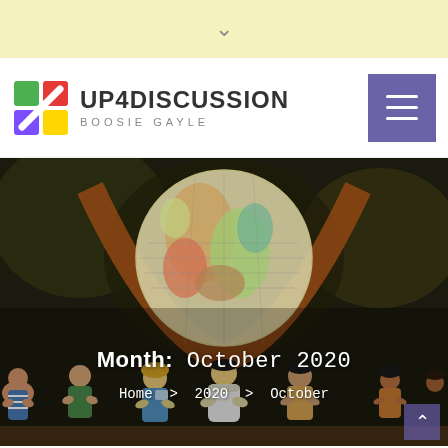∨
[Figure (logo): UP4DISCUSSION Boosie Gayle logo with colored squares icon]
[Figure (photo): Hero background photo showing a world globe and diverse figurines of children from different cultures holding hands, dark background]
Month: October 2020
Home > 2020 > October